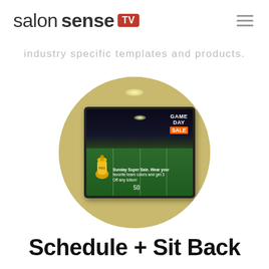salonsense TV
industry specific templates and products.
[Figure (photo): A circular-cropped image showing a TV screen mounted on a wall in a salon-like interior. The TV displays a 'Game Day Sale' promotional ad with a football stadium background, a lotion bottle, and text reading: 'GAME DAY SALE — Sunday Super Sale. Wear your favorite team colors and get 3[0%] Off any lotion!']
Schedule + Sit Back